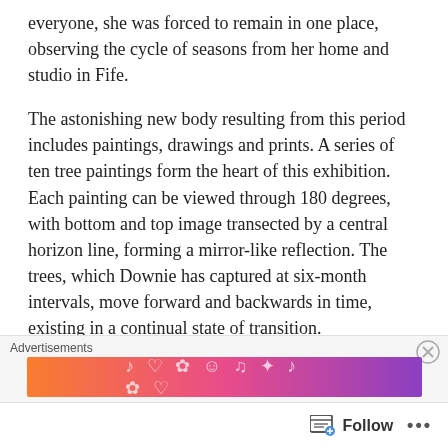everyone, she was forced to remain in one place, observing the cycle of seasons from her home and studio in Fife.
The astonishing new body resulting from this period includes paintings, drawings and prints. A series of ten tree paintings form the heart of this exhibition. Each painting can be viewed through 180 degrees, with bottom and top image transected by a central horizon line, forming a mirror-like reflection. The trees, which Downie has captured at six-month intervals, move forward and backwards in time, existing in a continual state of transition.
[Figure (other): Advertisements banner with colorful gradient (orange to purple) pattern with decorative music and emoji icons]
Follow ...